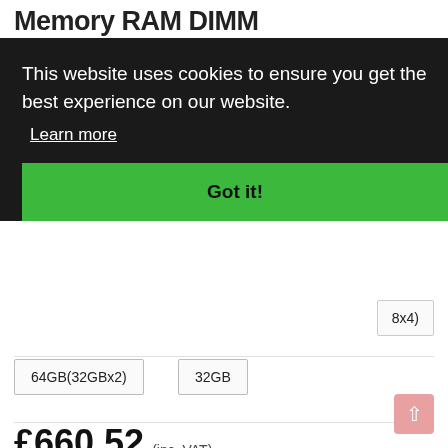Memory RAM DIMM
[Figure (screenshot): Cookie consent banner overlay on a product page. Dark background with white text reading 'This website uses cookies to ensure you get the best experience on our website.' with a 'Learn more' link and a green 'Got it!' button.]
roduct
8x4)
64GB(32GBx2)
32GB
£660.52 (inc. VAT)
No Stock Available  Availability: 0 in stock
Description   Specification   Reviews (0)